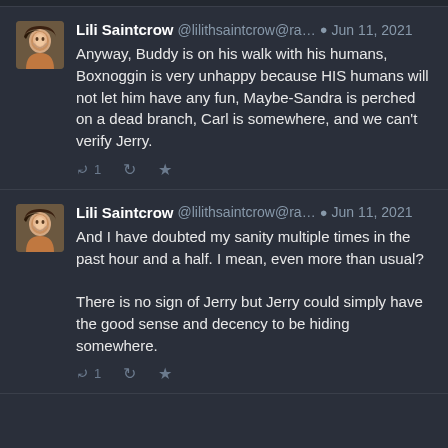Lili Saintcrow @lilithsaintcrow@ra... Jun 11, 2021
Anyway, Buddy is on his walk with his humans, Boxnoggin is very unhappy because HIS humans will not let him have any fun, Maybe-Sandra is perched on a dead branch, Carl is somewhere, and we can't verify Jerry.
Lili Saintcrow @lilithsaintcrow@ra... Jun 11, 2021
And I have doubted my sanity multiple times in the past hour and a half. I mean, even more than usual?

There is no sign of Jerry but Jerry could simply have the good sense and decency to be hiding somewhere.